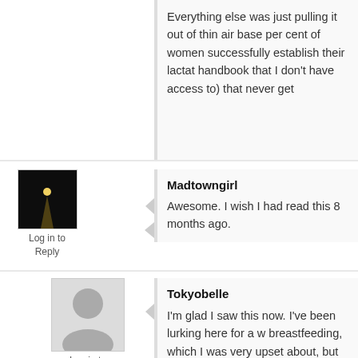Everything else was just pulling it out of thin air base per cent of women successfully establish their lactat handbook that I don't have access to) that never get
[Figure (photo): Small avatar image of a night scene with a light reflection on water]
Log in to Reply
Madtowngirl
Awesome. I wish I had read this 8 months ago.
[Figure (illustration): Generic user avatar silhouette in gray]
Log in to Reply
Tokyobelle
I'm glad I saw this now. I've been lurking here for a w breastfeeding, which I was very upset about, but I'm
I decided to throw in the towel because I wanted to b producing was hindering my relationship with my so either. It was also very dehumanizing, and I was mis machine.
Formula feeding is making such bonding and closer
I have a beautiful, healthy, thriving six week old who do so gladly.